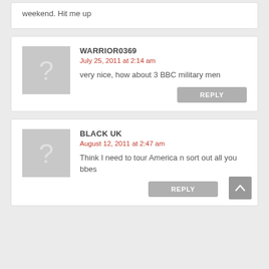weekend. Hit me up
WARRIOR0369
July 25, 2011 at 2:14 am
very nice, how about 3 BBC military men
REPLY
BLACK UK
August 12, 2011 at 2:47 am
Think I need to tour America n sort out all you bbes
REPLY